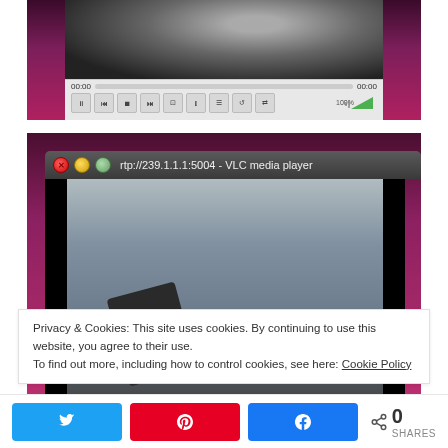[Figure (screenshot): VLC media player showing a video (appears to show a dark figure/Darth Vader) with playback controls bar at the bottom showing 00:00 timestamps, pause/stop/skip buttons, and a green volume triangle at 100%]
[Figure (screenshot): VLC media player window with Ubuntu-style title bar reading 'rtp://239.1.1.1:5004 - VLC media player', showing a video of a hand holding a small black card against a gray background]
Privacy & Cookies: This site uses cookies. By continuing to use this website, you agree to their use.
To find out more, including how to control cookies, see here: Cookie Policy
[Figure (infographic): Social share bar with Twitter (blue), Pinterest (red), and Facebook (blue) share buttons, plus a share count showing 0 SHARES]